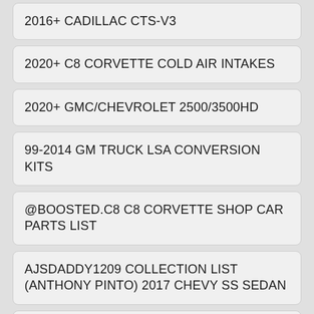2016+ CADILLAC CTS-V3
2020+ C8 CORVETTE COLD AIR INTAKES
2020+ GMC/CHEVROLET 2500/3500HD
99-2014 GM TRUCK LSA CONVERSION KITS
@BOOSTED.C8 C8 CORVETTE SHOP CAR PARTS LIST
AJSDADDY1209 COLLECTION LIST (ANTHONY PINTO) 2017 CHEVY SS SEDAN
APPAREL AND MERCH
AUTOMOTIVE NO RESIDUE FIRE EXTINGUISHERS